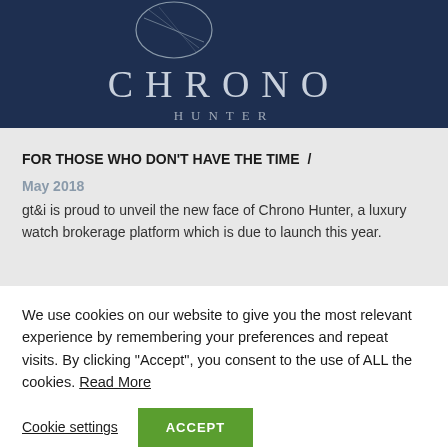[Figure (logo): Chrono Hunter logo — dark navy background with a circular emblem at top, large text 'CHRONO' in light grey serif letters, and 'HUNTER' in smaller spaced letters below]
FOR THOSE WHO DON'T HAVE THE TIME  /
May 2018
gt&i is proud to unveil the new face of Chrono Hunter, a luxury watch brokerage platform which is due to launch this year.
We use cookies on our website to give you the most relevant experience by remembering your preferences and repeat visits. By clicking "Accept", you consent to the use of ALL the cookies. Read More
Cookie settings
ACCEPT